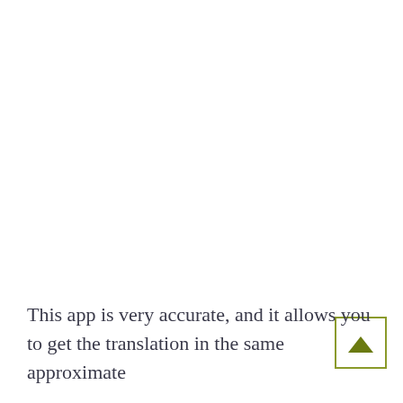This app is very accurate, and it allows you to get the translation in the same approximate
[Figure (other): Scroll-to-top button with upward-pointing triangle arrow, olive/yellow-green color, square border outline]